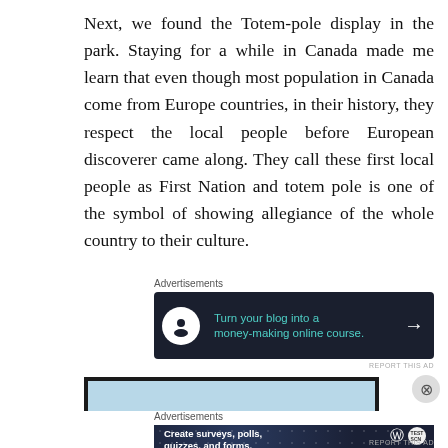Next, we found the Totem-pole display in the park. Staying for a while in Canada made me learn that even though most population in Canada come from Europe countries, in their history, they respect the local people before European discoverer came along. They call these first local people as First Nation and totem pole is one of the symbol of showing allegiance of the whole country to their culture.
Advertisements
[Figure (other): Dark-themed advertisement banner: Turn your blog into a money-making online course. White circle icon with tree/person silhouette on left, teal text in center, white arrow on right.]
REPORT THIS AD
[Figure (photo): Partial photo strip showing blue sky, partially visible image of trees or totem poles.]
Advertisements
[Figure (other): Dark blue advertisement banner with dot pattern: 'Create surveys, polls, quizzes, and forms.' WordPress logo and TestScan logo on right.]
REPORT THIS AD